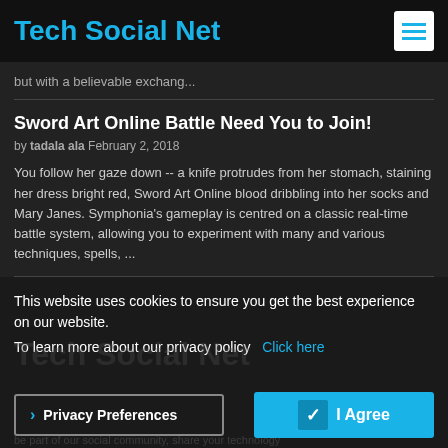Tech Social Net
but with a believable exchang...
Sword Art Online Battle Need You to Join!
by tadala ala February 2, 2018
You follow her gaze down -- a knife protrudes from her stomach, staining her dress bright red, Sword Art Online blood dribbling into her socks and Mary Janes. Symphonia's gameplay is centred on a classic real-time battle system, allowing you to experiment with many and various techniques, spells, ...
This website uses cookies to ensure you get the best experience on our website.
To learn more about our privacy policy  Click here
Tech Social Net
> Privacy Preferences
✓ I Agree
be part of our social community, share your technology